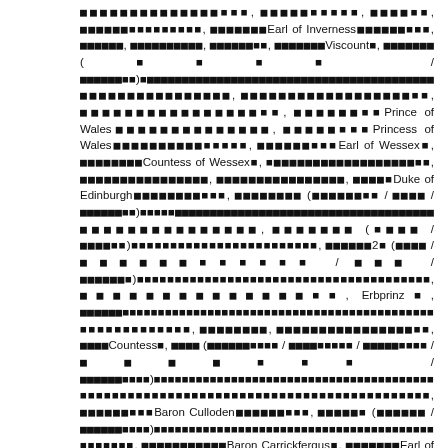…Earl of Inverness…Viscount…Prince of Wales…Princess of Wales…Earl of Wessex…Countess of Wessex…Duke of Edinburgh…Erbprinz…Baron Culloden…Baron Carrickfergus…Earl of Carrick…Baron Killyleagh…King of the Hellenes / King of Greece…Princess of Greece…Prince of Greece…Princess of Greece…Baron Kilkeel…King…Queen…9…9…2…